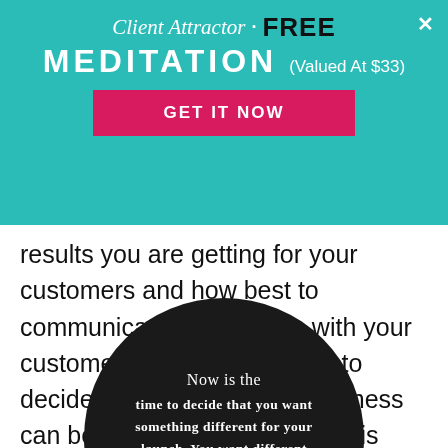[Figure (infographic): Teal banner popup advertising 'Client Attractor · FREE MEDITATION (Valued At $33)' with a pink 'GET IT NOW' button and an X close button.]
results you are getting for your customers and how best to communicate the benefits with your customer.  Now you're going to decide how you and your business can benefit from this launch. It is now time to decide:
[Figure (infographic): Dark circular graphic with white text: 'Now is the time to decide that you want something different for your launch. You want different']